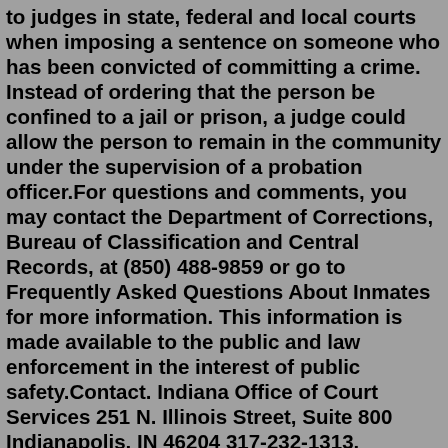to judges in state, federal and local courts when imposing a sentence on someone who has been convicted of committing a crime. Instead of ordering that the person be confined to a jail or prison, a judge could allow the person to remain in the community under the supervision of a probation officer.For questions and comments, you may contact the Department of Corrections, Bureau of Classification and Central Records, at (850) 488-9859 or go to Frequently Asked Questions About Inmates for more information. This information is made available to the public and law enforcement in the interest of public safety.Contact. Indiana Office of Court Services 251 N. Illinois Street, Suite 800 Indianapolis, IN 46204 317-232-1313. Probation Committee Angie Hensley-Langrel The Commissioner of Probation, Edward J. Dolan, and his office oversee the Massachusetts Probation Service and the Office of the Community Corrections, which includes 105 probation departments and 18 community corrections centers, the Electronic Monitoring Center, and the Trial Court